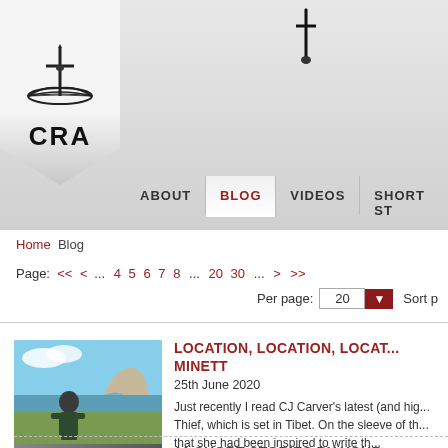[Figure (screenshot): CRA website header with logo (sword over open book, CRA text), navigation items: ABOUT, BLOG (active/highlighted in red), VIDEOS, SHORT ST...]
Home  Blog
Page: << < ... 4 5 6 7 8 ... 20 30 ... > >>
Per page: 20  Sort p
LOCATION, LOCATION, LOCAT... MINETT
25th June 2020
Just recently I read CJ Carver's latest (and hig... Thief, which is set in Tibet. On the sleeve of th... that she had been inspired to write th...
11 SHORT STORIES BY YOUR...